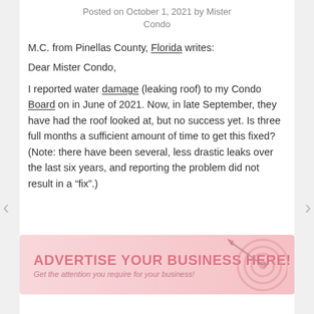Posted on October 1, 2021 by Mister Condo
M.C. from Pinellas County, Florida writes:
Dear Mister Condo,
I reported water damage (leaking roof) to my Condo Board on in June of 2021. Now, in late September, they have had the roof looked at, but no success yet. Is three full months a sufficient amount of time to get this fixed? (Note: there have been several, less drastic leaks over the last six years, and reporting the problem did not result in a “fix”.)
[Figure (infographic): Advertisement banner: ADVERTISE YOUR BUSINESS HERE! Get the attention you require for your business! With target/bullseye graphic and arrow.]